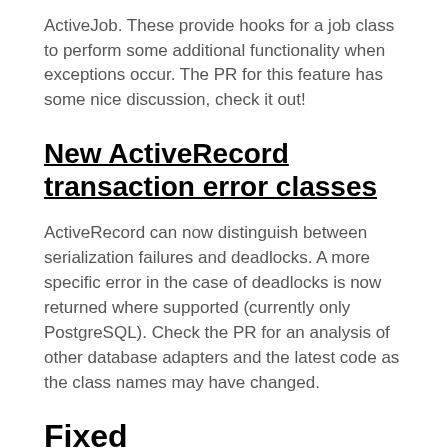ActiveJob. These provide hooks for a job class to perform some additional functionality when exceptions occur. The PR for this feature has some nice discussion, check it out!
New ActiveRecord transaction error classes
ActiveRecord can now distinguish between serialization failures and deadlocks. A more specific error in the case of deadlocks is now returned where supported (currently only PostgreSQL). Check the PR for an analysis of other database adapters and the latest code as the class names may have changed.
Fixed
Activesupport::Duration